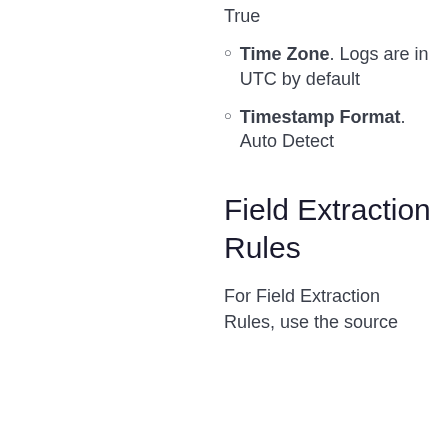True
Time Zone. Logs are in UTC by default
Timestamp Format. Auto Detect
Field Extraction Rules
For Field Extraction Rules, use the source